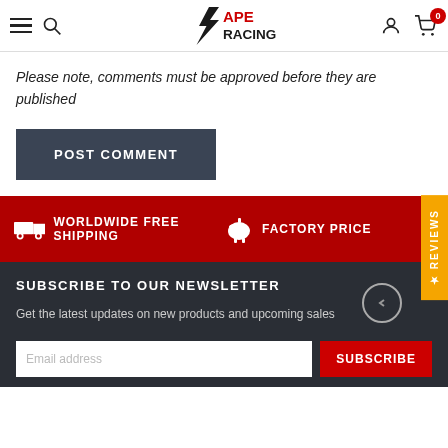APE RACING — navigation header with hamburger, search, logo, account, cart (0)
Please note, comments must be approved before they are published
POST COMMENT
REVIEWS
WORLDWIDE FREE SHIPPING    FACTORY PRICE
SUBSCRIBE TO OUR NEWSLETTER
Get the latest updates on new products and upcoming sales
Email address   SUBSCRIBE